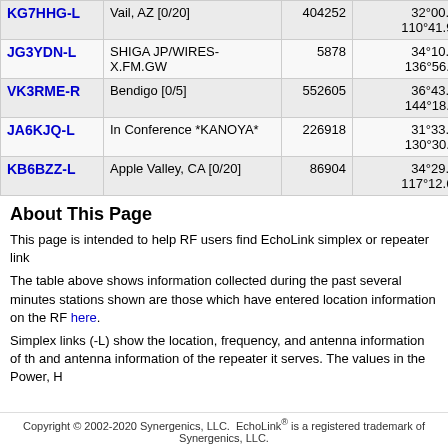| Callsign | Location | Node | Coordinates | Grid |  |
| --- | --- | --- | --- | --- | --- |
| KG7HHG-L | Vail, AZ [0/20] | 404252 | 32°00.06' N 110°41.94' W | DM42pa | 5 |
| JG3YDN-L | SHIGA JP/WIRES-X.FM.GW | 5878 | 34°10.26' N 136°56.28' E | PM84le | 5 |
| VK3RME-R | Bendigo [0/5] | 552605 | 36°43.98' N 144°18.06' E | QM26dr | 5 |
| JA6KJQ-L | In Conference *KANOYA* | 226918 | 31°33.23' N 130°30.48' E | PM51gn | 5 |
| KB6BZZ-L | Apple Valley, CA [0/20] | 86904 | 34°29.57' N 117°12.60' W | DM14jl | 5 |
About This Page
This page is intended to help RF users find EchoLink simplex or repeater link
The table above shows information collected during the past several minutes stations shown are those which have entered location information on the RF here.
Simplex links (-L) show the location, frequency, and antenna information of th and antenna information of the repeater it serves. The values in the Power, H
Copyright © 2002-2020 Synergenics, LLC.  EchoLink® is a registered trademark of Synergenics, LLC.